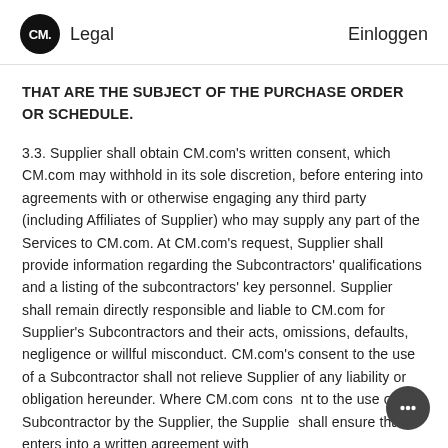CM. Legal   Einloggen
THAT ARE THE SUBJECT OF THE PURCHASE ORDER OR SCHEDULE.
3.3. Supplier shall obtain CM.com's written consent, which CM.com may withhold in its sole discretion, before entering into agreements with or otherwise engaging any third party (including Affiliates of Supplier) who may supply any part of the Services to CM.com. At CM.com's request, Supplier shall provide information regarding the Subcontractors' qualifications and a listing of the subcontractors' key personnel. Supplier shall remain directly responsible and liable to CM.com for Supplier's Subcontractors and their acts, omissions, defaults, negligence or willful misconduct. CM.com's consent to the use of a Subcontractor shall not relieve Supplier of any liability or obligation hereunder. Where CM.com cons to the use of a Subcontractor by the Supplier, the Supplier shall ensure that it enters into a written agreement with